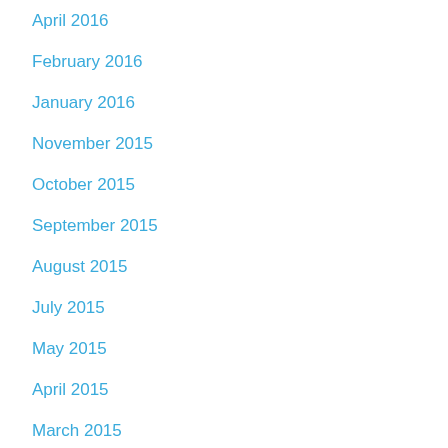April 2016
February 2016
January 2016
November 2015
October 2015
September 2015
August 2015
July 2015
May 2015
April 2015
March 2015
January 2015
December 2014
November 2014
October 2014
September 2014
August 2014
July 2014
January 2014
December 2013